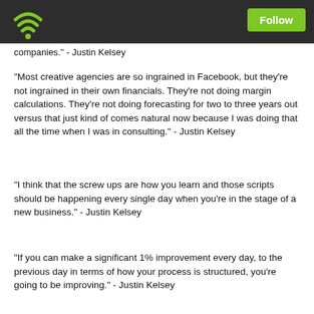Follow
companies." - Justin Kelsey
"Most creative agencies are so ingrained in Facebook, but they're not ingrained in their own financials. They're not doing margin calculations. They're not doing forecasting for two to three years out versus that just kind of comes natural now because I was doing that all the time when I was in consulting." - Justin Kelsey
"I think that the screw ups are how you learn and those scripts should be happening every single day when you're in the stage of a new business." - Justin Kelsey
"If you can make a significant 1% improvement every day, to the previous day in terms of how your process is structured, you're going to be improving."  - Justin Kelsey
"You have to have those screw ups to realize where you can
Play this podcast on Podbean App